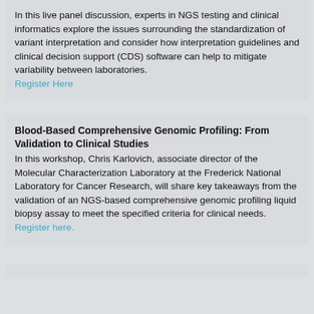In this live panel discussion, experts in NGS testing and clinical informatics explore the issues surrounding the standardization of variant interpretation and consider how interpretation guidelines and clinical decision support (CDS) software can help to mitigate variability between laboratories. Register Here
Blood-Based Comprehensive Genomic Profiling: From Validation to Clinical Studies
In this workshop, Chris Karlovich, associate director of the Molecular Characterization Laboratory at the Frederick National Laboratory for Cancer Research, will share key takeaways from the validation of an NGS-based comprehensive genomic profiling liquid biopsy assay to meet the specified criteria for clinical needs. Register here.